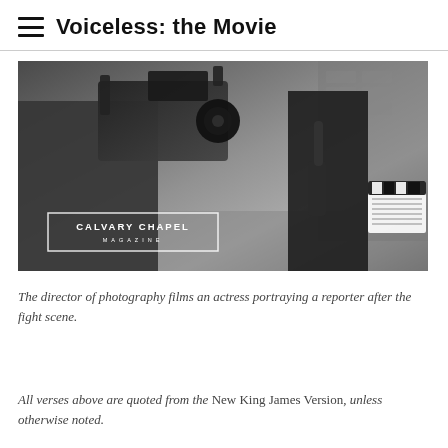Voiceless: the Movie
[Figure (photo): Black and white photograph of a film set. A director of photography is filming with a large professional camera on the left. On the right, an actress portraying a reporter stands holding a microphone. A clapperboard is visible on the right side. A watermark reading 'CALVARY CHAPEL MAGAZINE' is overlaid on the lower left of the image.]
The director of photography films an actress portraying a reporter after the fight scene.
All verses above are quoted from the New King James Version, unless otherwise noted.